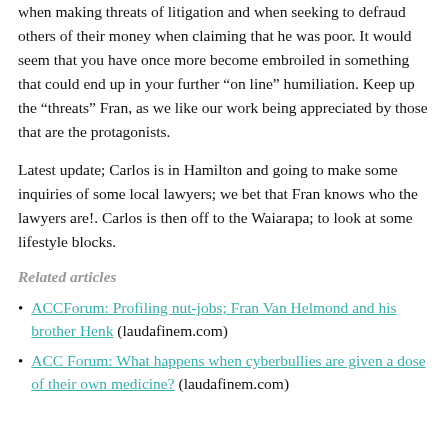when making threats of litigation and when seeking to defraud others of their money when claiming that he was poor.  It would seem that you have once more become embroiled in something that could end up in your further “on line” humiliation.  Keep up the “threats” Fran, as we like our work being appreciated by those that are the protagonists.
Latest update; Carlos is in Hamilton and going to make some inquiries of some local lawyers;  we bet that Fran knows who the lawyers are!.  Carlos is then off to the Waiarapa; to look at some lifestyle blocks.
Related articles
ACCForum: Profiling nut-jobs; Fran Van Helmond and his brother Henk (laudafinem.com)
ACC Forum: What happens when cyberbullies are given a dose of their own medicine? (laudafinem.com)